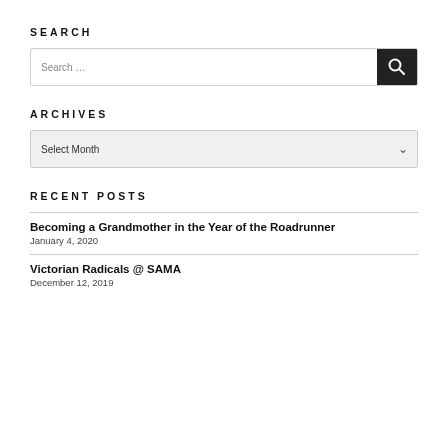SEARCH
[Figure (other): Search input box with magnifying glass button]
ARCHIVES
[Figure (other): Archives dropdown select box showing 'Select Month']
RECENT POSTS
Becoming a Grandmother in the Year of the Roadrunner
January 4, 2020
Victorian Radicals @ SAMA
December 12, 2019